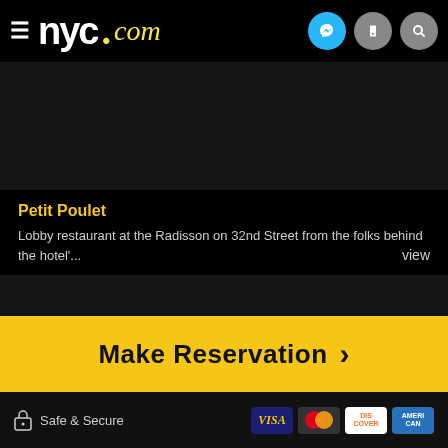nyc.com header with messenger, phone, and search icons
[Figure (screenshot): Dark image placeholder above Petit Poulet listing]
Petit Poulet — Lobby restaurant at the Radisson on 32nd Street from the folks behind the hotel'...
[Figure (screenshot): Dark image placeholder above Kingsley listing]
Kingsley — Seasonal, local, market-driven, contemporary French-American cuisine from Chef R...
Make Reservation >
Safe & Secure — Visa, Mastercard, Discover, American Express